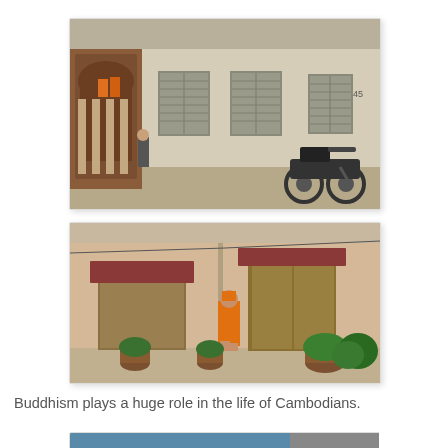[Figure (photo): Photograph of an old colonial-style building facade with grey shuttered windows, a motorcycle parked on the street, and people including a child on the left balcony area with orange-robed monks visible.]
[Figure (photo): Photograph of a peach-colored building with yellow doors and windows with red awnings, potted plants, and a Buddhist monk in orange robes walking past.]
Buddhism plays a huge role in the life of Cambodians.
[Figure (photo): Partial view of a third photograph at the bottom of the page, showing a blue-toned scene, partially cut off.]